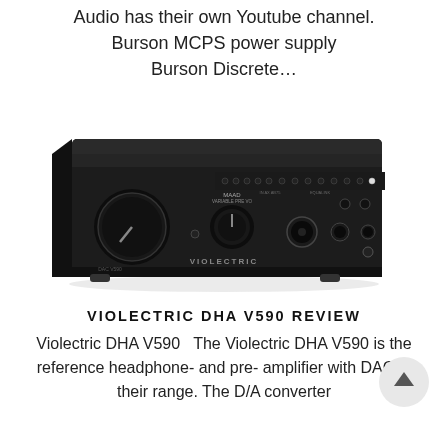Audio has their own Youtube channel. Burson MCPS power supply Burson Discrete…
[Figure (photo): Photo of the Violectric DHA V590 headphone amplifier and DAC unit, a black rectangular audio device with large volume knob, smaller mode knob, headphone jacks including XLR, and various controls and indicators on the front panel. The VIOLECTRIC branding is visible on the front.]
VIOLECTRIC DHA V590 REVIEW
Violectric DHA V590   The Violectric DHA V590 is the reference headphone- and pre- amplifier with DAC in their range. The D/A converter